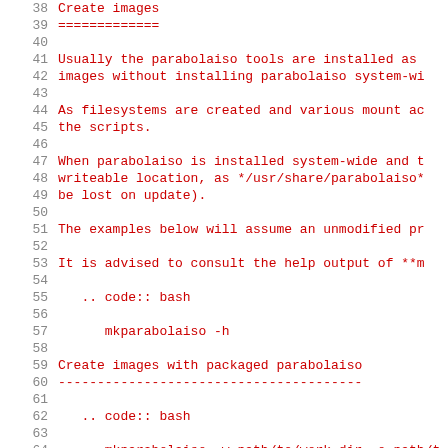Create images
=============
Usually the parabolaiso tools are installed as images without installing parabolaiso system-wi
As filesystems are created and various mount ac the scripts.
When parabolaiso is installed system-wide and t writeable location, as */usr/share/parabolaiso* be lost on update).
The examples below will assume an unmodified pr
It is advised to consult the help output of **m
.. code:: bash
mkparabolaiso -h
Create images with packaged parabolaiso
---------------------------------------
.. code:: bash
mkparabolaiso -w path/to/work_dir -o path/t
Create images with local clone
------------------------------